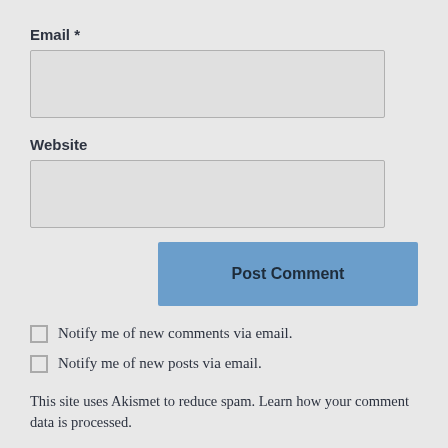Email *
[Figure (other): Empty text input field for Email]
Website
[Figure (other): Empty text input field for Website]
Post Comment
Notify me of new comments via email.
Notify me of new posts via email.
This site uses Akismet to reduce spam. Learn how your comment data is processed.